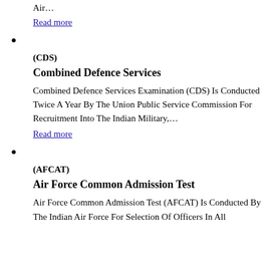Air…
Read more
(CDS)
Combined Defence Services
Combined Defence Services Examination (CDS) Is Conducted Twice A Year By The Union Public Service Commission For Recruitment Into The Indian Military,…
Read more
(AFCAT)
Air Force Common Admission Test
Air Force Common Admission Test (AFCAT) Is Conducted By The Indian Air Force For Selection Of Officers In All